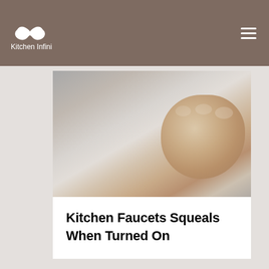Kitchen Infinity
[Figure (photo): Close-up photo of a hand/fist, gray and beige tones, likely demonstrating turning a faucet knob]
Kitchen Faucets Squeals When Turned On
[Figure (photo): Photo of a chrome kitchen faucet on a white/marble background, partially visible at bottom of page]